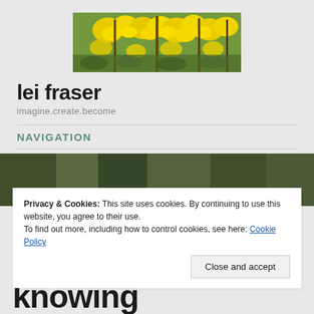[Figure (photo): Banner photo of yellow forsythia flowers against branches]
lei fraser
imagine.create.become
NAVIGATION
Privacy & Cookies: This site uses cookies. By continuing to use this website, you agree to their use.
To find out more, including how to control cookies, see here: Cookie Policy
Close and accept
knowing